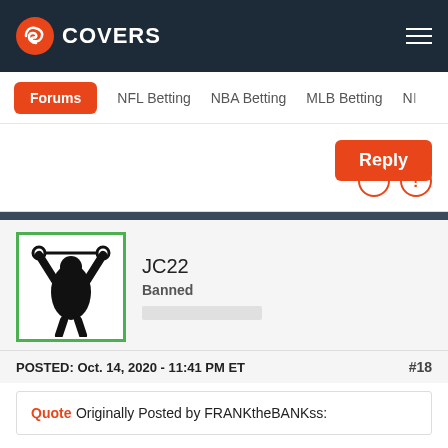COVERS
Forums | NFL Betting | NBA Betting | MLB Betting | N...
Reply
JC22
Banned
POSTED: Oct. 14, 2020 - 11:41 PM ET #18
Quote Originally Posted by FRANKtheBANKss: